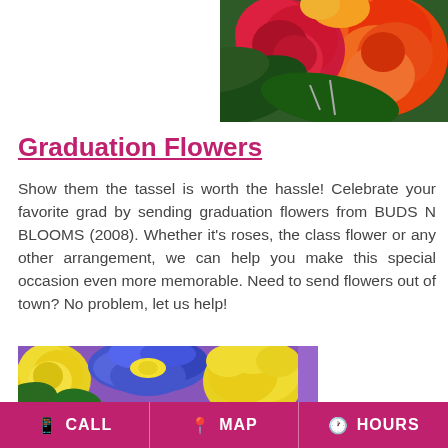[Figure (photo): Close-up photo of red carnations and orange roses with green tropical leaves in a floral arrangement, positioned in the upper right of the page.]
Graduation Flowers
Show them the tassel is worth the hassle! Celebrate your favorite grad by sending graduation flowers from BUDS N BLOOMS (2008). Whether it's roses, the class flower or any other arrangement, we can help you make this special occasion even more memorable. Need to send flowers out of town? No problem, let us help!
[Figure (photo): Close-up photo of yellow roses, blue irises, and yellow flowers on a purple background in a floral arrangement, positioned in the lower left.]
CALL   MAP   HOURS